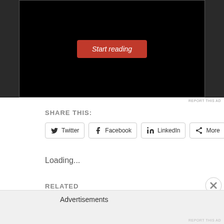[Figure (screenshot): Black background ad area with a red 'Start reading' button in italic white text, flanked by dark sidebar panels on left and right.]
REPORT THIS AD
SHARE THIS:
[Figure (screenshot): Row of social share buttons: Twitter, Facebook, LinkedIn, More]
Loading...
RELATED
[Figure (screenshot): Two related article thumbnails: Site Settings page and Project A SharePoint page]
Advertisements
REPORT THIS AD